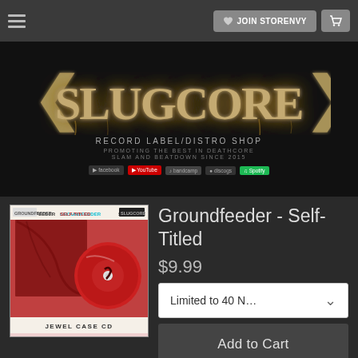JOIN STORENVY
[Figure (logo): Slugcore Records logo with ornate metal typography, RECORD LABEL/DISTRO SHOP, PROMOTING THE BEST IN DEATHCORE SLAM AND BEATDOWN SINCE 2015, social media icons: facebook, youtube, bandcamp, discogs, spotify]
[Figure (photo): Groundfeeder Self-Titled jewel case CD product photo showing red album art with CD disc, GROUNDFEEDER SELF-TITLED text at top, JEWEL CASE CD at bottom]
Groundfeeder - Self-Titled
$9.99
Limited to 40 N…
Add to Cart